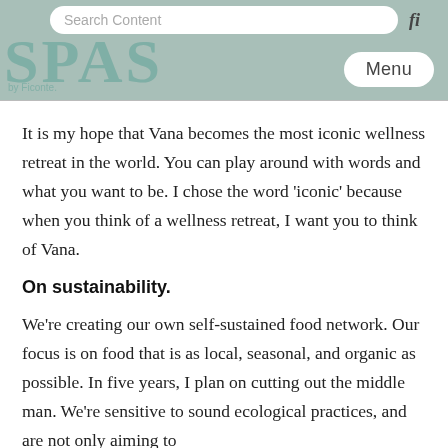Search Content
[Figure (screenshot): Navigation bar with SPAS logo in teal/sage color and Menu button on the right]
It is my hope that Vana becomes the most iconic wellness retreat in the world. You can play around with words and what you want to be. I chose the word 'iconic' because when you think of a wellness retreat, I want you to think of Vana.
On sustainability.
We're creating our own self-sustained food network. Our focus is on food that is as local, seasonal, and organic as possible. In five years, I plan on cutting out the middle man. We're sensitive to sound ecological practices, and are not only aiming to